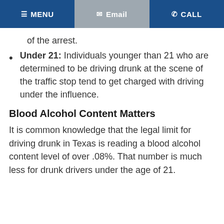MENU | Email | CALL
of the arrest.
Under 21: Individuals younger than 21 who are determined to be driving drunk at the scene of the traffic stop tend to get charged with driving under the influence.
Blood Alcohol Content Matters
It is common knowledge that the legal limit for driving drunk in Texas is reading a blood alcohol content level of over .08%. That number is much less for drunk drivers under the age of 21.